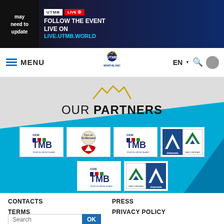may need to update | UTMB LIVE | FOLLOW THE EVENT LIVE ON LIVE.UTMB.WORLD
MENU | UTMB MONT-BLANC | EN | Search | User
OUR PARTNERS
[Figure (logo): TMB GEIE partner logo]
[Figure (logo): Pays de St-Bernard partner logo]
[Figure (logo): TMB GEIE partner logo (duplicate)]
[Figure (logo): Chamonix and Saint-Gervais partner logos]
[Figure (logo): TMB GEIE partner logo (third)]
[Figure (logo): Saint-Gervais and Chamonix logos combined]
CONTACTS | PRESS | TERMS | PRIVACY POLICY | Search OK